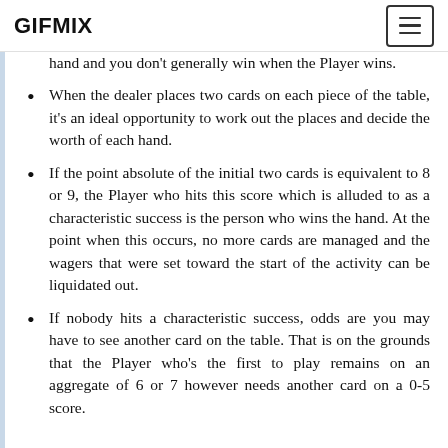GIFMIX
hand and you don't generally win when the Player wins.
When the dealer places two cards on each piece of the table, it's an ideal opportunity to work out the places and decide the worth of each hand.
If the point absolute of the initial two cards is equivalent to 8 or 9, the Player who hits this score which is alluded to as a characteristic success is the person who wins the hand. At the point when this occurs, no more cards are managed and the wagers that were set toward the start of the activity can be liquidated out.
If nobody hits a characteristic success, odds are you may have to see another card on the table. That is on the grounds that the Player who's the first to play remains on an aggregate of 6 or 7 however needs another card on a 0-5 score.